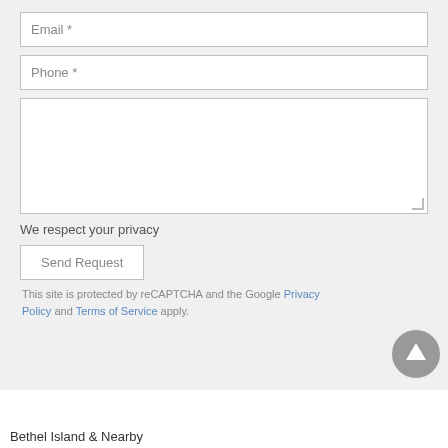[Figure (screenshot): Web contact form section with Email and Phone input fields, a large textarea, privacy notice, Send Request button, and reCAPTCHA disclaimer. A circular scroll-to-top arrow button appears in the bottom right.]
We respect your privacy
Send Request
This site is protected by reCAPTCHA and the Google Privacy Policy and Terms of Service apply.
Bethel Island & Nearby